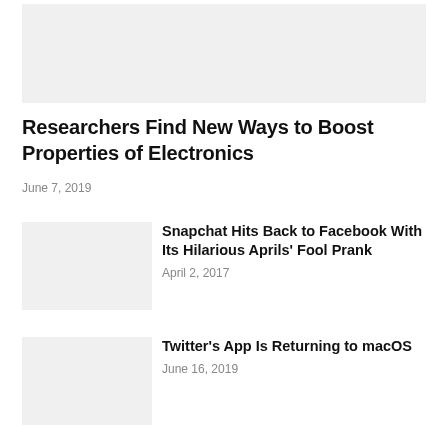[Figure (photo): Hero image placeholder — light gray rectangle at top of page]
Researchers Find New Ways to Boost Properties of Electronics
June 7, 2019
[Figure (photo): Thumbnail image placeholder — light gray rectangle for Snapchat article]
Snapchat Hits Back to Facebook With Its Hilarious Aprils' Fool Prank
April 2, 2017
[Figure (photo): Thumbnail image placeholder — light gray rectangle for Twitter article]
Twitter's App Is Returning to macOS
June 16, 2019